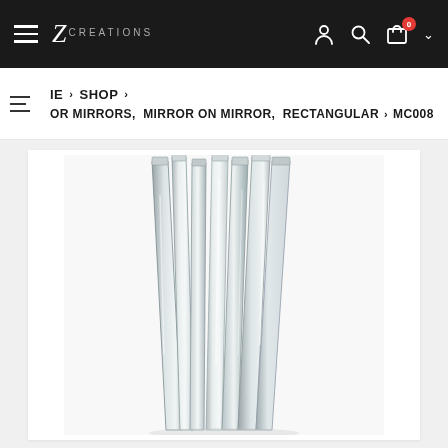Z Creations — Navigation bar with hamburger menu, logo, user icon, search icon, cart (0), dropdown arrow
IE > SHOP > OR MIRRORS, MIRROR ON MIRROR, RECTANGULAR > MC008
[Figure (photo): Close-up photo of a decorative mirror product (MC008) — tall angular mirror panels arranged in a fan-like cluster, highly reflective silver/chrome finish, on white background]